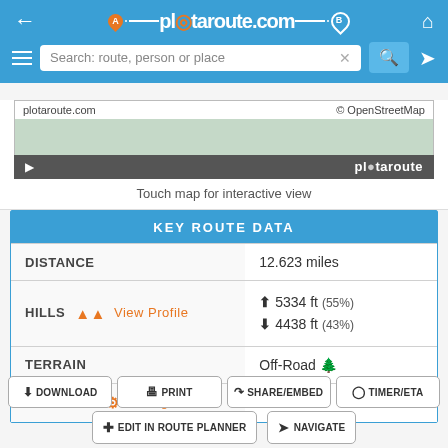plotaroute.com
[Figure (screenshot): Map thumbnail showing plotaroute.com route map with OpenStreetMap attribution and plotaroute branding bar]
Touch map for interactive view
| KEY ROUTE DATA |  |
| --- | --- |
| DISTANCE | 12.623 miles |
| HILLS  View Profile | ↑ 5334 ft (55%)
↓ 4438 ft (43%) |
| TERRAIN | Off-Road 🌲 |
| CALORIES  Configure | 1960 kcal |
DOWNLOAD  PRINT  SHARE/EMBED  TIMER/ETA
EDIT IN ROUTE PLANNER  NAVIGATE